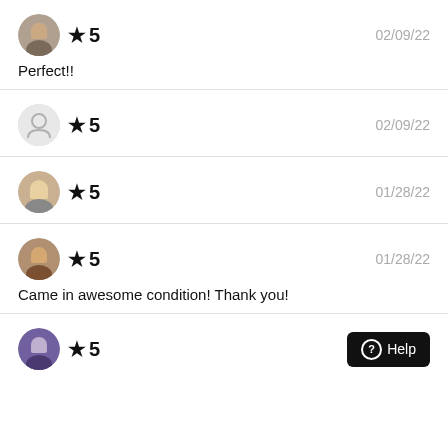★5 | 02/09/22 | Perfect!!
★5 | 02/09/22
★5 | 01/28/22
★5 | 01/28/22 | Came in awesome condition! Thank you!
★5